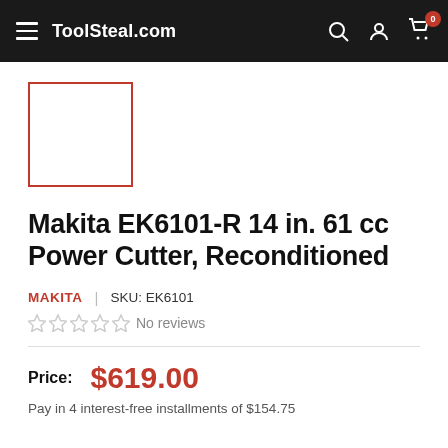ToolSteal.com
[Figure (other): Empty product image placeholder with red border]
Makita EK6101-R 14 in. 61 cc Power Cutter, Reconditioned
MAKITA | SKU: EK6101
No reviews
Price: $619.00
Pay in 4 interest-free installments of $154.75